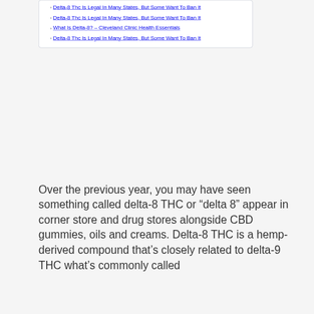Delta-8 Thc Is Legal In Many States, But Some Want To Ban It
Delta-8 Thc Is Legal In Many States, But Some Want To Ban It
What Is Delta-8? – Cleveland Clinic Health Essentials
Delta-8 Thc Is Legal In Many States, But Some Want To Ban It
Over the previous year, you may have seen something called delta-8 THC or “delta 8” appear in corner store and drug stores alongside CBD gummies, oils and creams. Delta-8 THC is a hemp-derived compound that’s closely related to delta-9 THC what’s commonly called